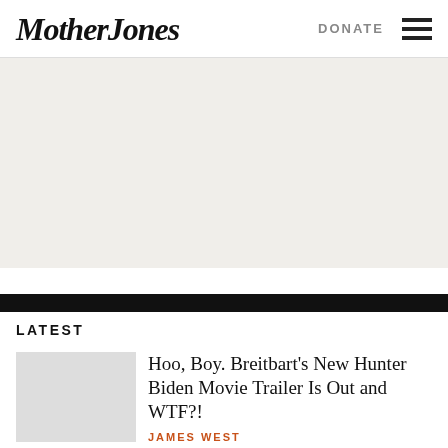Mother Jones | DONATE
[Figure (other): Light beige/gray advertisement placeholder area]
LATEST
Hoo, Boy. Breitbart's New Hunter Biden Movie Trailer Is Out and WTF?!
JAMES WEST